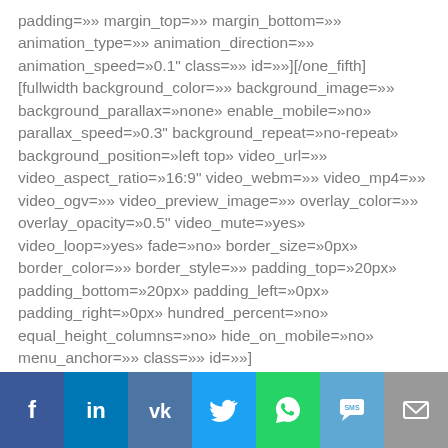padding=»» margin_top=»» margin_bottom=»» animation_type=»» animation_direction=»» animation_speed=»0.1" class=»» id=»»][/one_fifth] [fullwidth background_color=»» background_image=»» background_parallax=»none» enable_mobile=»no» parallax_speed=»0.3" background_repeat=»no-repeat» background_position=»left top» video_url=»» video_aspect_ratio=»16:9" video_webm=»» video_mp4=»» video_ogv=»» video_preview_image=»» overlay_color=»» overlay_opacity=»0.5" video_mute=»yes» video_loop=»yes» fade=»no» border_size=»0px» border_color=»» border_style=»» padding_top=»20px» padding_bottom=»20px» padding_left=»0px» padding_right=»0px» hundred_percent=»no» equal_height_columns=»no» hide_on_mobile=»no» menu_anchor=»» class=»» id=»»]
[Figure (other): Social share bar with icons for Facebook, LinkedIn, VK, Twitter, WhatsApp, SMS, and Email]